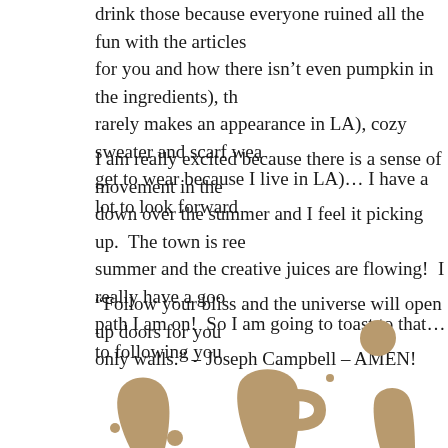drink those because everyone ruined all the fun with the articles for you and how there isn't even pumpkin in the ingredients), the rarely makes an appearance in LA), cozy sweater and scarf wea get to wear because I live in LA)… I have a lot to look forward
I am really excited because there is a sense of movement in the down over the summer and I feel it picking up.  The town is ree summer and the creative juices are flowing!  I really have a goo path I am on!  So I am going to toast to that… to following you
“Follow your bliss and the universe will open up doors for you only walls.” – Joseph Campbell – AMEN!
[Figure (illustration): Decorative illustration of coffee cup or mug shapes in tan/beige color with small dots, partially visible at the bottom of the page]